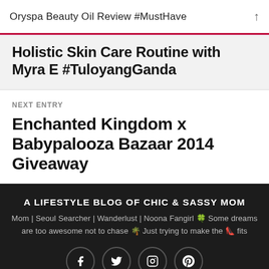Oryspa Beauty Oil Review #MustHave
Holistic Skin Care Routine with Myra E #TuloyangGanda
NEXT ENTRY
Enchanted Kingdom x Babypalooza Bazaar 2014 Giveaway
A LIFESTYLE BLOG OF CHIC & SASSY MOM
Mom | Seoul Searcher | Wanderlust | Noona Fangirl 🍀 Some dreams are too awesome not to chase 🌴 Just trying to make the 👠 fits